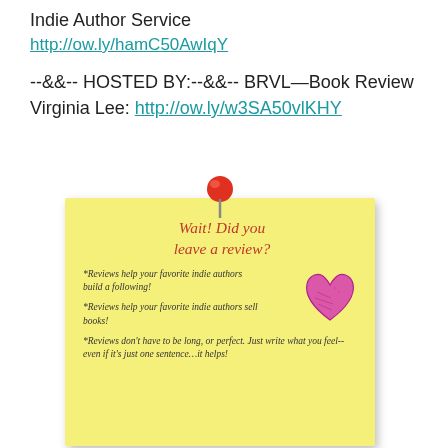Indie Author Service
http://ow.ly/hamC50AwIqY
--&&-- HOSTED BY:--&&-- BRVL—Book Review Virginia Lee: http://ow.ly/w3SA50vlKHY
[Figure (illustration): Yellow sticky note with a red thumbtack, titled 'Wait! Did you leave a review?' with bullet points about reviews and a pink hand-drawn heart.]